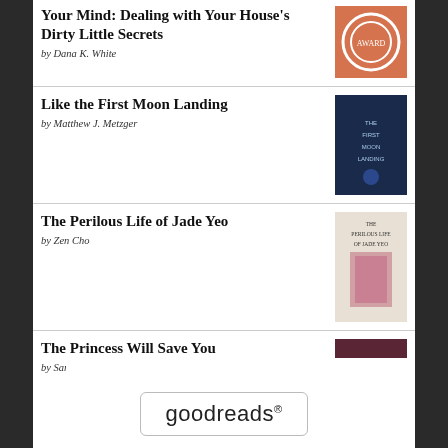Your Mind: Dealing with Your House's Dirty Little Secrets by Dana K. White
Like the First Moon Landing by Matthew J. Metzger
The Perilous Life of Jade Yeo by Zen Cho
The Princess Will Save You by Sarah Henning
On Tangled Paths by Theodor Fontane
[Figure (logo): Goodreads logo in a rounded rectangle box]